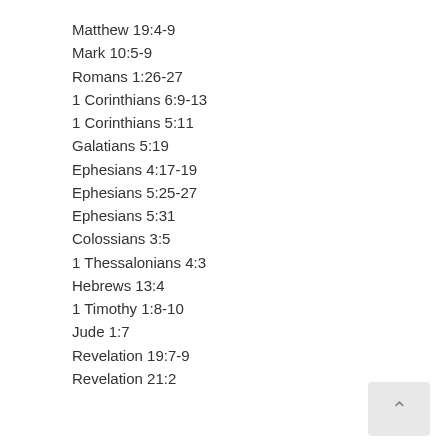Matthew 19:4-9
Mark 10:5-9
Romans 1:26-27
1 Corinthians 6:9-13
1 Corinthians 5:11
Galatians 5:19
Ephesians 4:17-19
Ephesians 5:25-27
Ephesians 5:31
Colossians 3:5
1 Thessalonians 4:3
Hebrews 13:4
1 Timothy 1:8-10
Jude 1:7
Revelation 19:7-9
Revelation 21:2